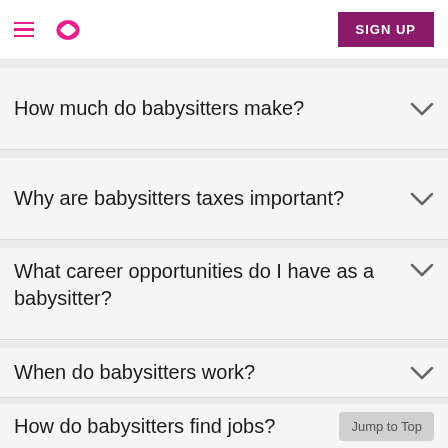Sittercity - SIGN UP
How much do babysitters make?
Why are babysitters taxes important?
What career opportunities do I have as a babysitter?
When do babysitters work?
How do babysitters find jobs?